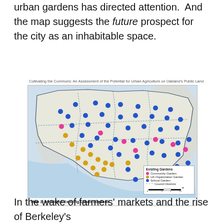urban gardens has directed attention. And the map suggests the future prospect for the city as an inhabitable space.
Cultivating the Commons: An Assessment of the Potential for Urban Agriculture on Oakland's Public Land
[Figure (map): Map of Oakland showing identified existing urban gardens as colored dots: pink for Community Garden, gold/yellow for UA Organization Garden, blue for School Garden. Council district boundaries shown as dashed lines. Multiple districts visible with waterways and terrain. Legend in lower right.]
In the wake of farmers' markets and the rise of Berkeley's